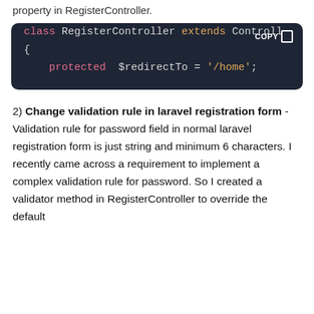property in RegisterController.
[Figure (screenshot): Code block showing PHP class definition: class RegisterController extends Controller { protected $redirectTo = '/home'; }]
2) Change validation rule in laravel registration form - Validation rule for password field in normal laravel registration form is just string and minimum 6 characters. I recently came across a requirement to implement a complex validation rule for password. So I created a validator method in RegisterController to override the default